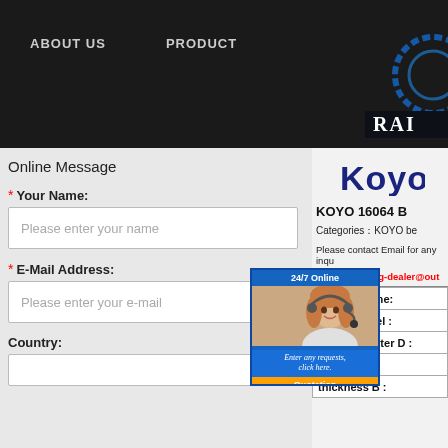ABOUT US   PRODUCT
Online Message
* Your Name:
Please enter your name
* E-Mail Address:
Please enter your e-mail
Country:
[Figure (logo): Koyo brand logo in blue text]
KOYO 16064 B
Categories：KOYO be
Please contact Email for any inqu
EMAIL: bearing-dealer@out
| bearing name: |
| --- |
| Brand model : |
| outer diameter D : |
| diameter d : |
| thickness B : |
[Figure (photo): 24/7 Online chat popup with woman wearing headset, message bubble saying Enter any requests, click here., and Quotation button]